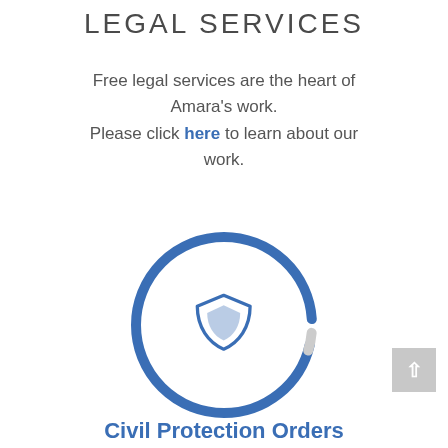LEGAL SERVICES
Free legal services are the heart of Amara's work. Please click here to learn about our work.
[Figure (illustration): A circular ring graphic (broken at the top) in blue, with a shield icon in the center, representing legal protection services.]
Civil Protection Orders